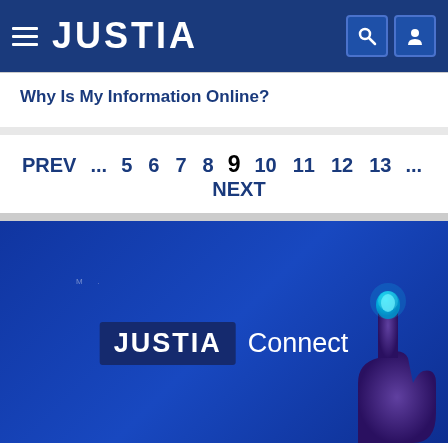JUSTIA
Why Is My Information Online?
PREV ... 5 6 7 8 9 NEXT 10 11 12 13 ...
[Figure (screenshot): Justia Connect promotional banner with blue background and a hand pointing upward icon]